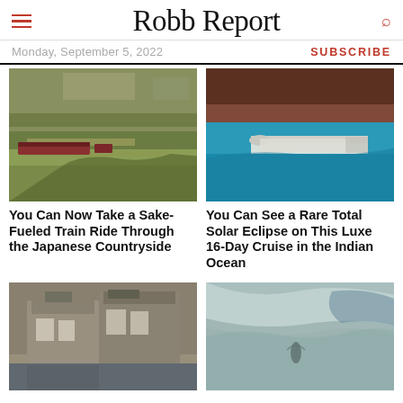Robb Report
Monday, September 5, 2022
SUBSCRIBE
[Figure (photo): Aerial view of a red train passing through green Japanese countryside fields]
You Can Now Take a Sake-Fueled Train Ride Through the Japanese Countryside
[Figure (photo): Aerial view of a luxury cruise ship in turquoise water near red cliffs]
You Can See a Rare Total Solar Eclipse on This Luxe 16-Day Cruise in the Indian Ocean
[Figure (photo): Exterior of a classic stone Scottish country house with gothic architecture]
[Figure (photo): Aerial view of a person swimming in shallow ocean water with sandy patterns]